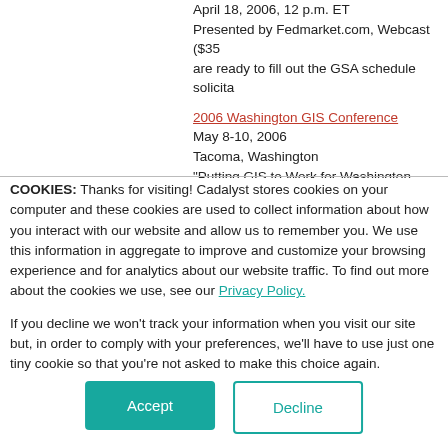April 18, 2006, 12 p.m. ET
Presented by Fedmarket.com, Webcast ($35... are ready to fill out the GSA schedule solicita...
2006 Washington GIS Conference
May 8-10, 2006
Tacoma, Washington
"Putting GIS to Work for Washington State" is sponsored by WAURISA (Washington State Association).
> Back to Top
COOKIES: Thanks for visiting! Cadalyst stores cookies on your computer and these cookies are used to collect information about how you interact with our website and allow us to remember you. We use this information in aggregate to improve and customize your browsing experience and for analytics about our website traffic. To find out more about the cookies we use, see our Privacy Policy.
If you decline we won't track your information when you visit our site but, in order to comply with your preferences, we'll have to use just one tiny cookie so that you're not asked to make this choice again.